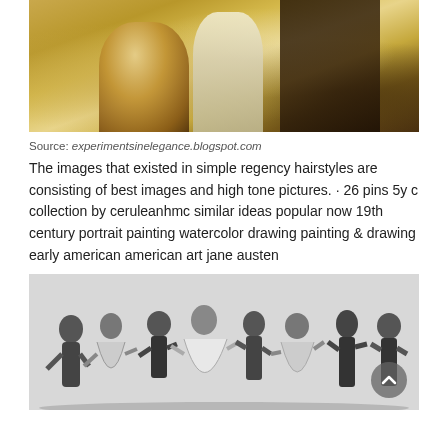[Figure (illustration): Partial view of a regency-era painting showing figures in ornate period clothing with golden and cream tones against a dark background.]
Source: experimentsinelegance.blogspot.com
The images that existed in simple regency hairstyles are consisting of best images and high tone pictures. · 26 pins 5y c collection by ceruleanhmc similar ideas popular now 19th century portrait painting watercolor drawing painting & drawing early american american art jane austen
[Figure (illustration): Black and white illustration of a Regency-era ballroom scene with couples dancing, men in dark tailcoats and women in full skirts.]